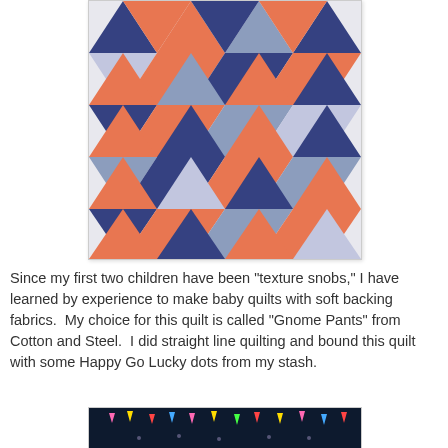[Figure (photo): A baby quilt with a triangular patchwork pattern in navy blue, orange/coral, and grey/lavender fabric prints arranged in a geometric design.]
Since my first two children have been "texture snobs," I have learned by experience to make baby quilts with soft backing fabrics.  My choice for this quilt is called "Gnome Pants" from Cotton and Steel.  I did straight line quilting and bound this quilt with some Happy Go Lucky dots from my stash.
[Figure (photo): Close-up of dark fabric with colorful flag or pennant shapes, likely the backing fabric called Gnome Pants from Cotton and Steel.]